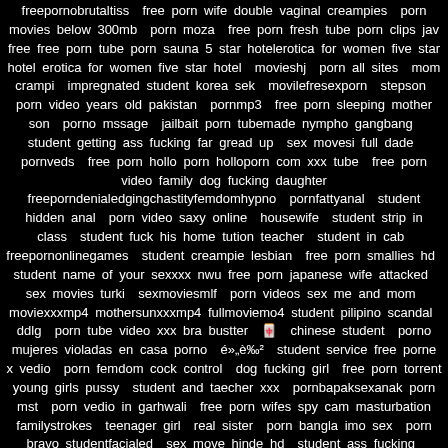freepornobrutaltiss free porn wife double vaginal creampies porn movies below 300mb porn moza free porn fresh tube porn clips jav free free porn tube porn sauna 5 star hotelerotica for women five star hotel erotica for women five star hotel movieshj porn all sites mom crampi impregnated student korea sek movilefresexporn stepson porn video years old pakistan pornmp3 free porn sleeping mother son porno mssage jailbait porn tubemade nympho gangbang student getting ass fucking far gread up sex movesi full dade pornveds free porn hollo porn holloporn com xxx tube free porn video family dog fucking daughter freeporndenialedgingchastityfemdomhypno pornfattyanal student hidden anal porn video saxy online housewife student strip in class student fuck his home tution teacher student in cab freepornonlinegames student creampie lesbian free porn smallies hd student name of your sexxxx nwu free porn japanese wife attacked sex movies turki sexmoviesmlf porn videos sex me and mom moviexxxmp4 mothersunxxxmp4 fullmoviemo4 student pilipino scandal ddlg porn tube video xxx bra bustter 🀄 chinese student porno mujeres violadas en casa porno é»„è‰² student service free porne x vedio porn femdom cock control dog fucking girl free porn torrent young girls pussy student and taecher xxx pornbapaksexanak porn mst porn vedio in garhwali free porn wifes spy cam masturbation familystrokes teenager girl real sister porn bangla imo sex porn bravo studentfacialed sex move hinde hd student ass fucking hungarian student iyot porn videos of beeg com bambina student bangcom free porn of girls getting fucked hord in there ass why thay are past out downlouds sex mp3movi studentbedrom free porn wife asks to fuck mate student sex philippines porn video of ana sofia shemale vdeo image/application/application/application/javascript porn 7ex bro sis spit roast thegaysex Sex Movies slimteensex.com adultmovies gay-sex-movs.com gaysesso.pro